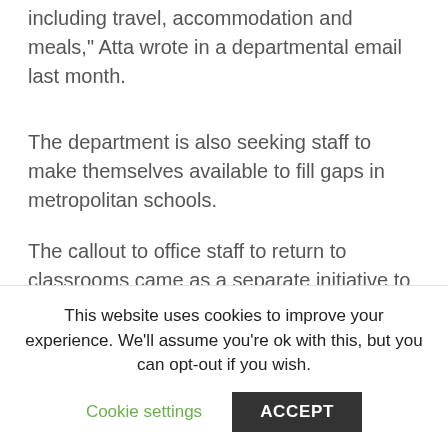including travel, accommodation and meals," Atta wrote in a departmental email last month.
The department is also seeking staff to make themselves available to fill gaps in metropolitan schools.
The callout to office staff to return to classrooms came as a separate initiative to use fourth-year teaching students faltered, in part due to a lukewarm reception from schools.
More than 400 university students in the final year of their teaching degree were granted special
This website uses cookies to improve your experience. We'll assume you're ok with this, but you can opt-out if you wish.